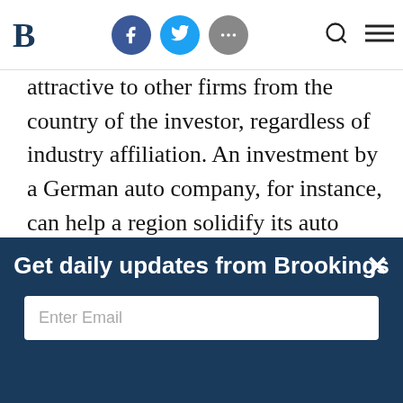Brookings navigation bar with logo, social icons (Facebook, Twitter, More), search and menu
attractive to other firms from the country of the investor, regardless of industry affiliation. An investment by a German auto company, for instance, can help a region solidify its auto cluster (with the added advantage that foreign investors are more likely to bring a network of suppliers). But that investment can also catalyze investment from other German firms that simply value the concentration of German companies, expats, and related cultural and business institutions. This dynamic reinforces
Get daily updates from Brookings
Enter Email